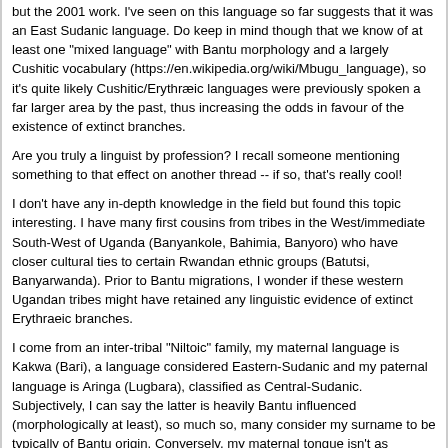but the 2001 work. I've seen on this language so far suggests that it was an East Sudanic language. Do keep in mind though that we know of at least one "mixed language" with Bantu morphology and a largely Cushitic vocabulary (https://en.wikipedia.org/wiki/Mbugu_language), so it's quite likely Cushitic/Erythræic languages were previously spoken a far larger area by the past, thus increasing the odds in favour of the existence of extinct branches.
Are you truly a linguist by profession? I recall someone mentioning something to that effect on another thread -- if so, that's really cool!
I don't have any in-depth knowledge in the field but found this topic interesting. I have many first cousins from tribes in the West/immediate South-West of Uganda (Banyankole, Bahimia, Banyoro) who have closer cultural ties to certain Rwandan ethnic groups (Batutsi, Banyarwanda). Prior to Bantu migrations, I wonder if these western Ugandan tribes might have retained any linguistic evidence of extinct Erythraeic branches.
I come from an inter-tribal "Niltoic" family, my maternal language is Kakwa (Bari), a language considered Eastern-Sudanic and my paternal language is Aringa (Lugbara), classified as Central-Sudanic. Subjectively, I can say the latter is heavily Bantu influenced (morphologically at least), so much so, many consider my surname to be typically of Bantu origin. Conversely, my maternal tongue isn't as "melodic", and is considered more tonally complex with more tenses to make things even more difficult.
The presence of E-V32 in Nilo-Saharan speaking peoples in what is now Darfur (namely the Fur and Masalit) suggests that there might have been an extinct West Erythræic branch spoken in the eastern part of the Sahara prior to the arrival of Nilo-Saharan speakers in the region. We might want to focus on the branches of E-V32 these guys carry as well, it could validate (or invalidate) this scenario.
Indeed, it really would be very revealing to see E-V32 formation/TMRCA dates between the Fur/Masalit and neighbouring Erythræic speakers; the Beja would be first on my list. This scenario reminds me of R-V88 in Chadic speakers (Mada, Ouldeme); populations with minor eurasian atDNA acompanied with substantially high Y-DNA found in neighbouring Erythræic speaking